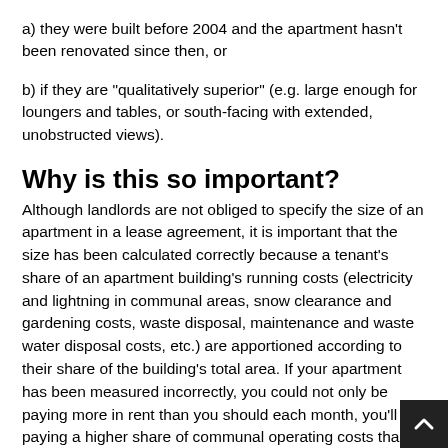a) they were built before 2004 and the apartment hasn't been renovated since then, or
b) if they are “qualitatively superior” (e.g. large enough for loungers and tables, or south-facing with extended, unobstructed views).
Why is this so important?
Although landlords are not obliged to specify the size of an apartment in a lease agreement, it is important that the size has been calculated correctly because a tenant’s share of an apartment building’s running costs (electricity and lightning in communal areas, snow clearance and gardening costs, waste disposal, maintenance and waste water disposal costs, etc.) are apportioned according to their share of the building’s total area. If your apartment has been measured incorrectly, you could not only be paying more in rent than you should each month, you’ll als paying a higher share of communal operating costs than you